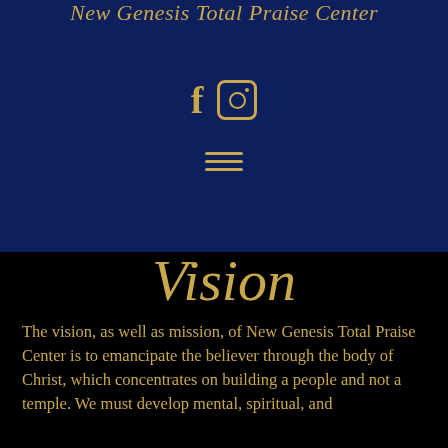New Genesis Total Praise Center
[Figure (other): Social media icons: Facebook (f) and Instagram (camera/square icon) in gold on dark blue background, with a hamburger menu icon below]
Vision
The vision, as well as mission, of New Genesis Total Praise Center is to emancipate the believer through the body of Christ, which concentrates on building a people and not a temple. We must develop mental, spiritual, and